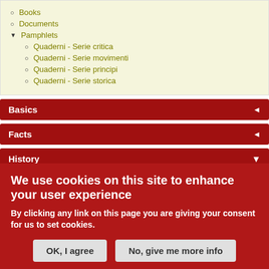Books
Documents
Pamphlets
Quaderni - Serie critica
Quaderni - Serie movimenti
Quaderni - Serie principi
Quaderni - Serie storica
Basics
Facts
History
01. Prehistory
02. Ancient History
We use cookies on this site to enhance your user experience
By clicking any link on this page you are giving your consent for us to set cookies.
OK, I agree
No, give me more info